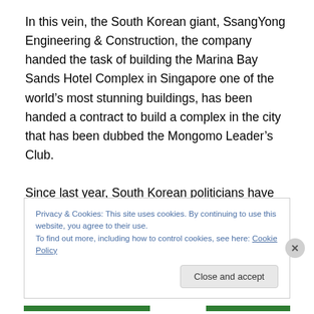In this vein, the South Korean giant, SsangYong Engineering & Construction, the company handed the task of building the Marina Bay Sands Hotel Complex in Singapore one of the world’s most stunning buildings, has been handed a contract to build a complex in the city that has been dubbed the Mongomo Leader’s Club.
Since last year, South Korean politicians have been regular visitors to the country lobbying for important construction contracts as well as a participation in oil and gas fields and a second LNG train from the island of
Privacy & Cookies: This site uses cookies. By continuing to use this website, you agree to their use.
To find out more, including how to control cookies, see here: Cookie Policy
Close and accept